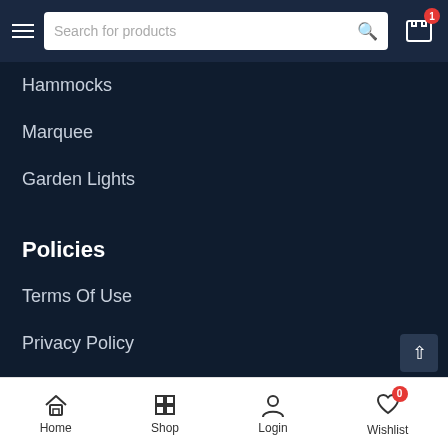Search for products — navbar with hamburger menu, search bar, and cart (1 item)
Hammocks
Marquee
Garden Lights
Policies
Terms Of Use
Privacy Policy
Delivery Terms
WARRANTY & RETURN
SHIPPING GUIDE
Home  Shop  Login  Wishlist (0)